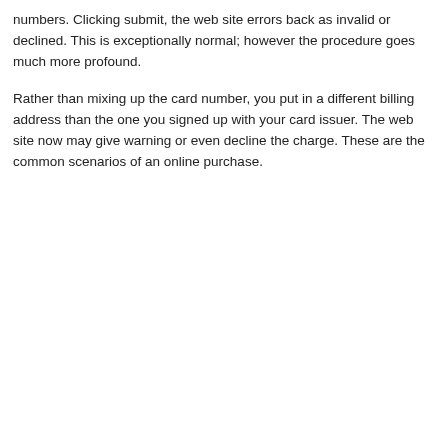numbers. Clicking submit, the web site errors back as invalid or declined. This is exceptionally normal; however the procedure goes much more profound.
Rather than mixing up the card number, you put in a different billing address than the one you signed up with your card issuer. The web site now may give warning or even decline the charge. These are the common scenarios of an online purchase.